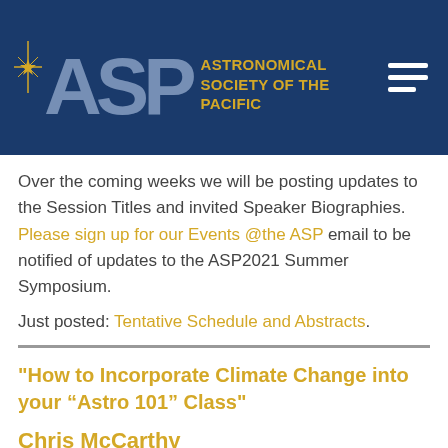[Figure (logo): Astronomical Society of the Pacific (ASP) logo on dark blue background with gold star icon, large silver/white ASP letters, gold text 'ASTRONOMICAL SOCIETY of the PACIFIC', and hamburger menu icon.]
Over the coming weeks we will be posting updates to the Session Titles and invited Speaker Biographies. Please sign up for our Events @the ASP email to be notified of updates to the ASP2021 Summer Symposium.
Just posted: Tentative Schedule and Abstracts.
"How to Incorporate Climate Change into your “Astro 101” Class"
Chris McCarthy